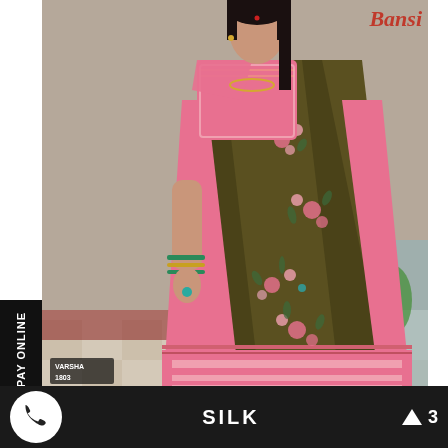Bansi
[Figure (photo): A woman wearing a dark olive/brown silk saree with pink floral embroidery and pink striped border, posed in front of a decorative painted wall background. Product label shows 'VARSHA 1803' in bottom left corner.]
PAY ONLINE
SILK
3